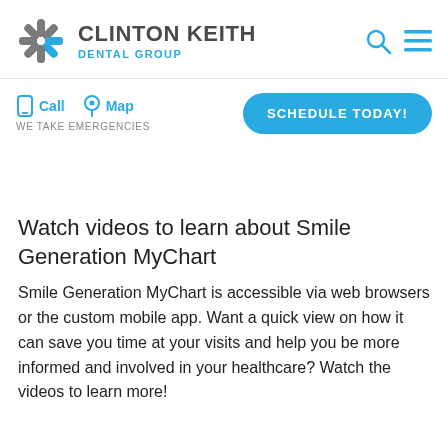[Figure (logo): Clinton Keith Dental Group logo with snowflake/asterisk icon in grey and blue, and search/hamburger menu icons on the right]
Call   Map
WE TAKE EMERGENCIES
SCHEDULE TODAY!
Watch videos to learn about Smile Generation MyChart
Smile Generation MyChart is accessible via web browsers or the custom mobile app. Want a quick view on how it can save you time at your visits and help you be more informed and involved in your healthcare? Watch the videos to learn more!